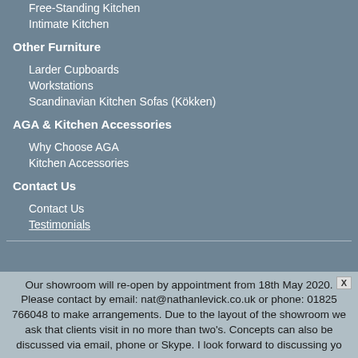Free-Standing Kitchen
Intimate Kitchen
Other Furniture
Larder Cupboards
Workstations
Scandinavian Kitchen Sofas (Kökken)
AGA & Kitchen Accessories
Why Choose AGA
Kitchen Accessories
Contact Us
Contact Us
Testimonials
Our showroom will re-open by appointment from 18th May 2020. Please contact by email: nat@nathanlevick.co.uk or phone: 01825 766048 to make arrangements. Due to the layout of the showroom we ask that clients visit in no more than two's. Concepts can also be discussed via email, phone or Skype. I look forward to discussing yo...